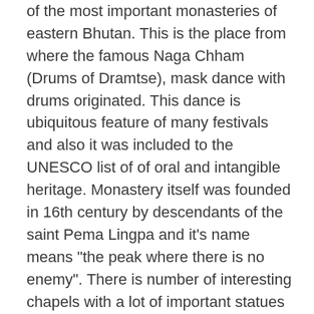of the most important monasteries of eastern Bhutan. This is the place from where the famous Naga Chham (Drums of Dramtse), mask dance with drums originated. This dance is ubiquitous feature of many festivals and also it was included to the UNESCO list of of oral and intangible heritage. Monastery itself was founded in 16th century by descendants of the saint Pema Lingpa and it's name means "the peak where there is no enemy". There is number of interesting chapels with a lot of important statues of the saints and protector deities. If you're in mood for short hike, you can also pursue 1.5 hour scenic hike from Dramtse to Baging la via Shergang village (currently might not be possible due to road works). Alternative option would be easy half hour hike going downhill from Drametse to Baging village directly. After reaching Mongar, you will pay a visit to it's dzong (castle). Although built in 1930, the dzong maintains Bhutanese architectural traditions.